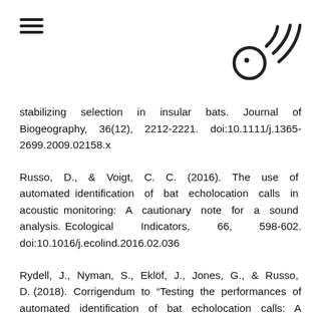stabilizing selection in insular bats. Journal of Biogeography, 36(12), 2212-2221. doi:10.1111/j.1365-2699.2009.02158.x
Russo, D., & Voigt, C. C. (2016). The use of automated identification of bat echolocation calls in acoustic monitoring: A cautionary note for a sound analysis. Ecological Indicators, 66, 598-602. doi:10.1016/j.ecolind.2016.02.036
Rydell, J., Nyman, S., Eklöf, J., Jones, G., & Russo, D. (2018). Corrigendum to “Testing the performances of automated identification of bat echolocation calls: A request for prudence” (ecol. indic. (2017) 78 (416–420) (S1470160X17301401)